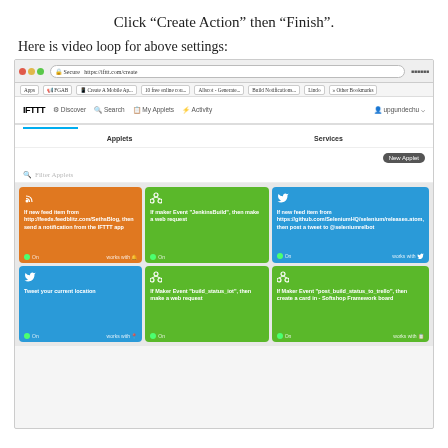Click “Create Action” then “Finish”.
Here is video loop for above settings:
[Figure (screenshot): Screenshot of IFTTT web interface showing the My Applets page with multiple applet cards. Top navigation bar shows IFTTT logo, Discover, Search, My Applets, Activity links and upgundechu user. Grid of 6 applet cards: orange card about RSS feed from feedblitz/SethsBlog; green card about JenkinsBuild maker event; blue card about GitHub selenium releases atom feed posting to @seleniumrelbot; blue card about Tweet your current location; green card about build_status_iot maker event; green card about post_build_status_to_trello maker event.]